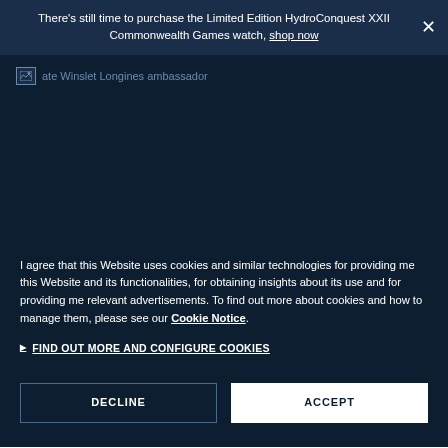There's still time to purchase the Limited Edition HydroConquest XXII Commonwealth Games watch, shop now
[Figure (photo): Broken image placeholder for Kate Winslet Longines ambassador photo on dark navy background]
I agree that this Website uses cookies and similar technologies for providing me this Website and its functionalities, for obtaining insights about its use and for providing me relevant advertisements. To find out more about cookies and how to manage them, please see our Cookie Notice.
FIND OUT MORE AND CONFIGURE COOKIES
DECLINE
ACCEPT